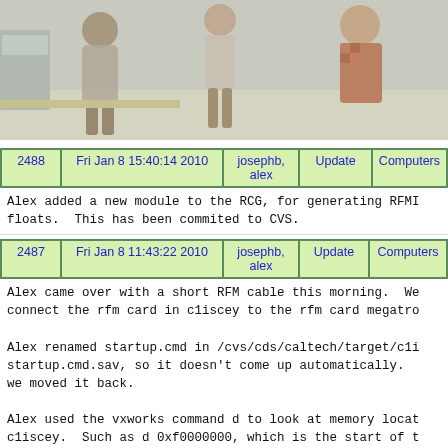[Figure (photo): Photo of people in a laboratory or office setting]
| 2488 | Fri Jan 8 15:40:14 2010 | josephb, alex | Update | Computers |
| --- | --- | --- | --- | --- |
Alex added a new module to the RCG, for generating RFMI floats.  This has been commited to CVS.
| 2487 | Fri Jan 8 11:43:22 2010 | josephb, alex | Update | Computers |
| --- | --- | --- | --- | --- |
Alex came over with a short RFM cable this morning.  We connect the rfm card in c1iscey to the rfm card megatro

Alex renamed startup.cmd in /cvs/cds/caltech/target/c1i startup.cmd.sav, so it doesn't come up automatically. we moved it back.

Alex used the vxworks command d to look at memory locat c1iscey.  Such as d 0xf0000000, which is the start of t location.  So to look at 0x11a1c8 (lscPos) in the rfm m typed "d 0xf011a1c8".  After doing some poking around, the raw tst front end code (in